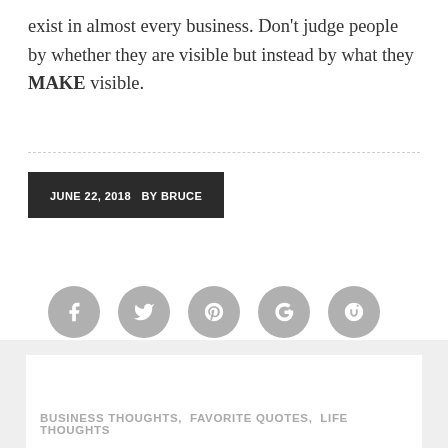exist in almost every business. Don't judge people by whether they are visible but instead by what they MAKE visible.
JUNE 22, 2018  BY BRUCE
[Figure (infographic): Five grey circular social media share buttons: Facebook, Twitter, Pinterest, Google+, StumbleUpon]
BUSINESS THOUGHTS,  FAVORITE QUOTES,  LIFE THOUGHTS